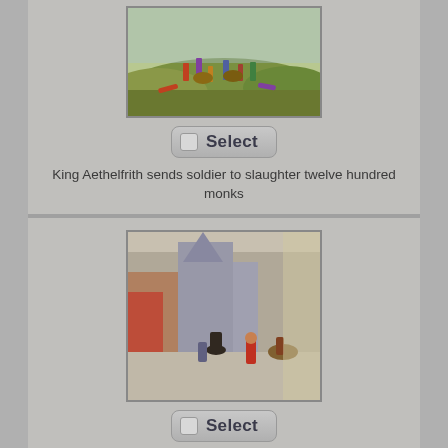[Figure (illustration): Historical illustration of soldiers/battle scene, King Aethelfrith's soldiers slaughtering monks]
Select
King Aethelfrith sends soldier to slaughter twelve hundred monks
[Figure (illustration): Historical illustration of Joan of Arc being led through a medieval town street, with soldiers and figures in period costume]
Select
Joan of Arc burned at the stake by the English at Rouen, 1431
[Figure (illustration): Partially visible illustration at bottom of page]